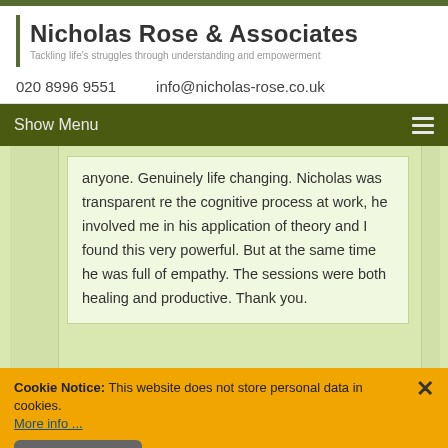Nicholas Rose & Associates — Tackling life's struggles through understanding and empowerment
020 8996 9551    info@nicholas-rose.co.uk
Show Menu
anyone. Genuinely life changing. Nicholas was transparent re the cognitive process at work, he involved me in his application of theory and I found this very powerful. But at the same time he was full of empathy. The sessions were both healing and productive. Thank you.
Cookie Notice: This website does not store personal data in cookies. More info ... I'm fine with this